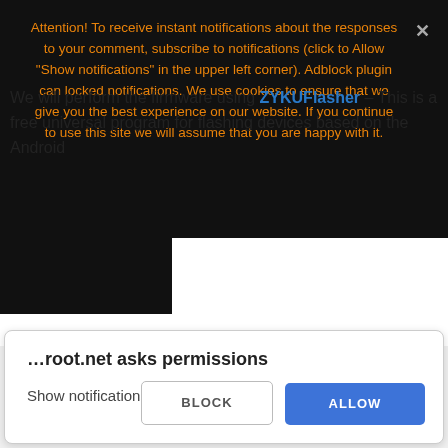Attention! To receive instant notifications about the responses to your comment, subscribe to notifications (click to Allow "Show notifications" in the upper left corner). Adblock plugin can locked notifications. We use cookies to ensure that we give you the best experience on our website. If you continue to use this site we will assume that you are happy with it.
Ok, good
[Figure (screenshot): Black redacted/blurred image block in the upper left of the content area]
We will perform the firmware using ZYKUFlasher – This is a free universal program for flashing devices based on the Android
…root.net asks permissions
Show notifications
BLOCK
ALLOW